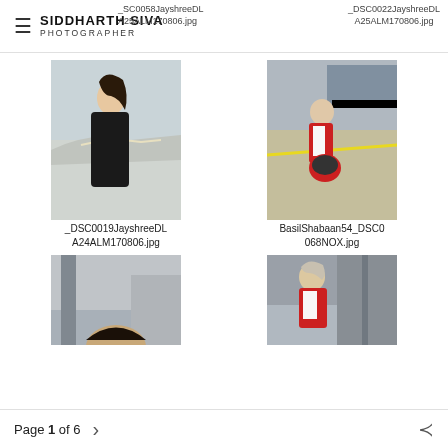SIDDHARTH SIVA PHOTOGRAPHER | _SC0058JayshreeDLA25ALM170806.jpg | _DSC0022JayshreeDLA25ALM170806.jpg
[Figure (photo): Woman in black outfit standing on a balcony with highway overpass in background]
_DSC0019JayshreeDLA24ALM170806.jpg
[Figure (photo): Racing driver in red and white outfit sitting on pit lane wall holding a helmet, race circuit in background]
BasilShabaan54_DSC0068NOX.jpg
[Figure (photo): Partial view of a person's head (cropped)]
[Figure (photo): Racing driver in red and white shirt, race circuit infrastructure in background]
Page 1 of 6  >  share